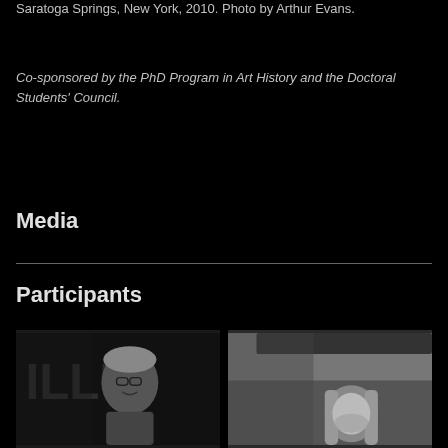Saratoga Springs, New York, 2010. Photo by Arthur Evans.
Co-sponsored by the PhD Program in Art History and the Doctoral Students' Council.
Media
Participants
[Figure (photo): Black and white photo of a person with glasses smiling, in front of a sign reading ILLU]
[Figure (photo): Black and white photo of a person with long hair, looking down]